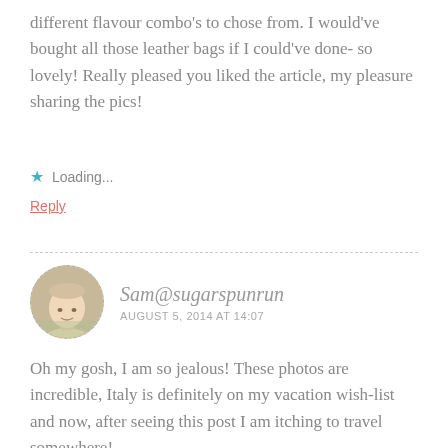different flavour combo's to chose from. I would've bought all those leather bags if I could've done- so lovely! Really pleased you liked the article, my pleasure sharing the pics!
★ Loading...
Reply
Sam@sugarspunrun
AUGUST 5, 2014 AT 14:07
Oh my gosh, I am so jealous! These photos are incredible, Italy is definitely on my vacation wish-list and now, after seeing this post I am itching to travel somewhere!